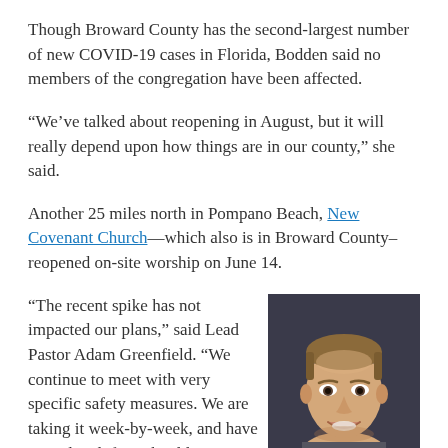Though Broward County has the second-largest number of new COVID-19 cases in Florida, Bodden said no members of the congregation have been affected.
“We’ve talked about reopening in August, but it will really depend upon how things are in our county,” she said.
Another 25 miles north in Pompano Beach, New Covenant Church—which also is in Broward County—reopened on-site worship on June 14.
“The recent spike has not impacted our plans,” said Lead Pastor Adam Greenfield. “We continue to meet with very specific safety measures. We are taking it week-by-week, and have considered if we should
[Figure (photo): Headshot portrait of Lead Pastor Adam Greenfield, a man with short brown hair, smiling, against a dark background.]